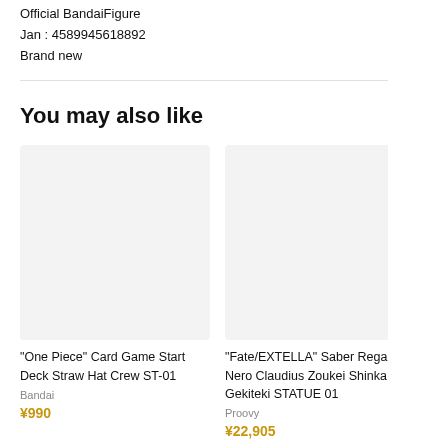Official BandaiFigure
Jan : 4589945618892
Brand new
You may also like
[Figure (photo): Product image placeholder (light gray box) for 'One Piece' Card Game Start Deck Straw Hat Crew ST-01]
"One Piece" Card Game Start Deck Straw Hat Crew ST-01
Bandai
¥990
[Figure (photo): Product image placeholder (light gray box) for 'Fate/EXTELLA' Saber Regalia Nero Claudius Zoukei Shinka Gekiteki STATUE 01]
"Fate/EXTELLA" Saber Regalia Nero Claudius Zoukei Shinka Gekiteki STATUE 01
Proovy
¥22,905
[Figure (photo): Partial product image placeholder (light gray box) for 'Uma Musume Derby... Zouke... Week...' item]
"Uma Derby... Zouke... Week...
System ...
¥3,1...